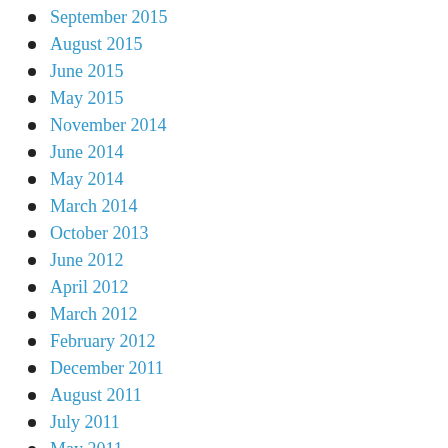September 2015
August 2015
June 2015
May 2015
November 2014
June 2014
May 2014
March 2014
October 2013
June 2012
April 2012
March 2012
February 2012
December 2011
August 2011
July 2011
May 2011